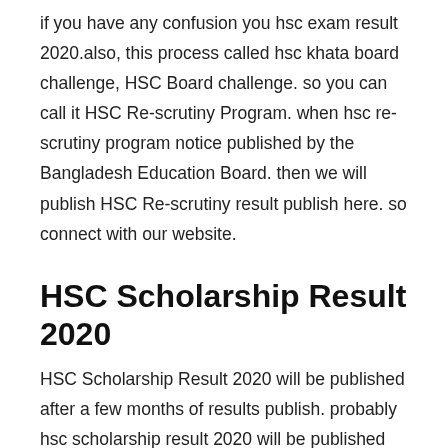if you have any confusion you hsc exam result 2020.also, this process called hsc khata board challenge, HSC Board challenge. so you can call it HSC Re-scrutiny Program. when hsc re-scrutiny program notice published by the Bangladesh Education Board. then we will publish HSC Re-scrutiny result publish here. so connect with our website.
HSC Scholarship Result 2020
HSC Scholarship Result 2020 will be published after a few months of results publish. probably hsc scholarship result 2020 will be published on ——2020. when will be published hsc scholarship